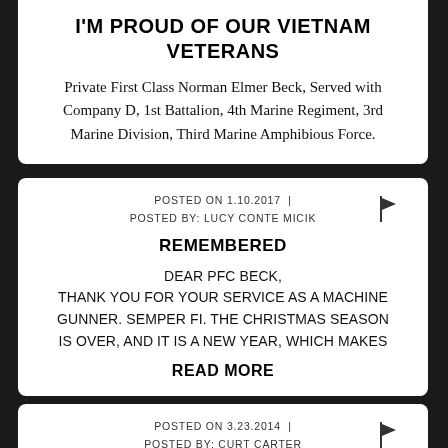I'M PROUD OF OUR VIETNAM VETERANS
Private First Class Norman Elmer Beck, Served with Company D, 1st Battalion, 4th Marine Regiment, 3rd Marine Division, Third Marine Amphibious Force.
POSTED ON 1.10.2017  |  POSTED BY: LUCY CONTE MICIK
REMEMBERED
DEAR PFC BECK, THANK YOU FOR YOUR SERVICE AS A MACHINE GUNNER. SEMPER FI. THE CHRISTMAS SEASON IS OVER, AND IT IS A NEW YEAR, WHICH MAKES
READ MORE
POSTED ON 3.23.2014  |  POSTED BY: CURT CARTER CCARTER02@EARTHLINK.NET